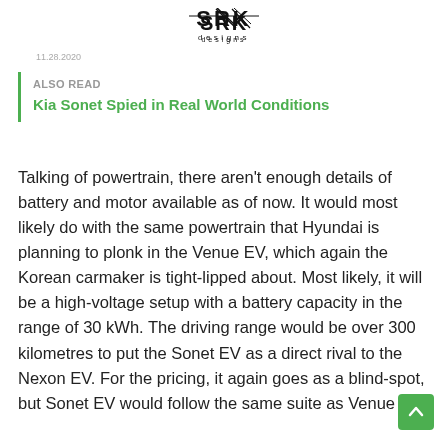SRK Designs logo
11.28.2020
ALSO READ
Kia Sonet Spied in Real World Conditions
Talking of powertrain, there aren't enough details of battery and motor available as of now. It would most likely do with the same powertrain that Hyundai is planning to plonk in the Venue EV, which again the Korean carmaker is tight-lipped about. Most likely, it will be a high-voltage setup with a battery capacity in the range of 30 kWh. The driving range would be over 300 kilometres to put the Sonet EV as a direct rival to the Nexon EV. For the pricing, it again goes as a blind-spot, but Sonet EV would follow the same suite as Venue EV